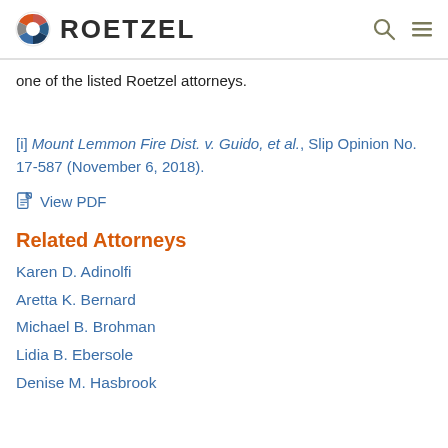ROETZEL
one of the listed Roetzel attorneys.
[i] Mount Lemmon Fire Dist. v. Guido, et al., Slip Opinion No. 17-587 (November 6, 2018).
View PDF
Related Attorneys
Karen D. Adinolfi
Aretta K. Bernard
Michael B. Brohman
Lidia B. Ebersole
Denise M. Hasbrook